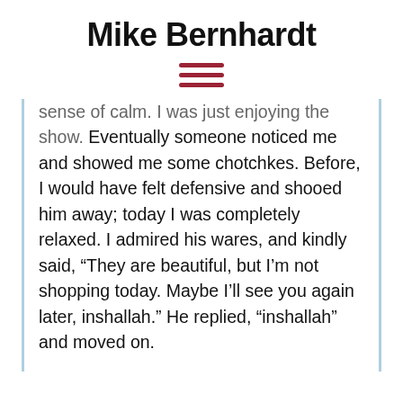Mike Bernhardt
[Figure (other): Hamburger menu icon with three horizontal dark red lines]
sense of calm. I was just enjoying the show. Eventually someone noticed me and showed me some chotchkes. Before, I would have felt defensive and shooed him away; today I was completely relaxed. I admired his wares, and kindly said, “They are beautiful, but I’m not shopping today. Maybe I’ll see you again later, inshallah.” He replied, “inshallah” and moved on.